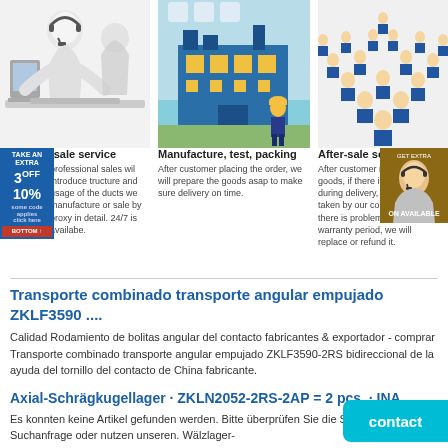[Figure (illustration): Three robot/mannequin figures wearing headsets and typing at computers - customer service representatives]
[Figure (illustration): Cartoon factory building with teal/blue color scheme and a worker figure in front - manufacture and packing illustration]
[Figure (illustration): Group of workers/employees in blue uniforms arranged in a triangular formation - after-sale service team]
[Figure (photo): Small promotional contact photo of a woman with headset on brown/golden background]
3OFF 10%
-sale service
professional sales wil introduce tructure and usage of the ducts we manufacture or sale by proxy in detail. 24/7 is available.
Manufacture, test, packing
After customer placing the order, we will prepare the goods asap to make sure delivery on time.
After-sale service
After customer recieve the goods, if there is any damage during delivery, the cost wil be taken by our company and if there is problem during the warranty period, we will replace or refund it.
Transporte combinado transporte angular empujado ZKLF3590 ....
Calidad Rodamiento de bolitas angular del contacto fabricantes & exportador - comprar Transporte combinado transporte angular empujado ZKLF3590-2RS bidireccional de la ayuda del tornillo del contacto de China fabricante.
Axial-Schrägkugellager · ZKLN2052-2RS-2AP = 2 pcs. · INA ....
Es konnten keine Artikel gefunden werden. Bitte überprüfen Sie die Schreibweise Ihrer Suchanfrage oder nutzen unseren. Wälzlager-